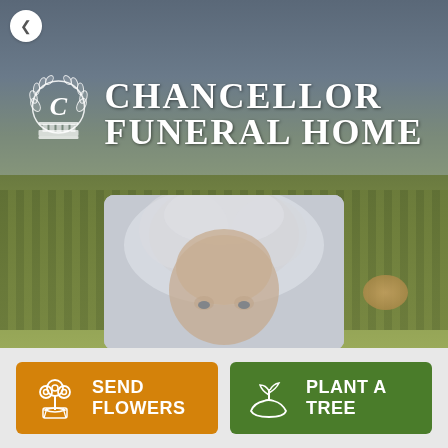[Figure (logo): Chancellor Funeral Home logo with ornate 'C' emblem and white serif text on a rural landscape hero banner background]
[Figure (photo): Blurred/partially cropped photo of an elderly person with white/grey hair, visible forehead and eyes]
SEND FLOWERS
PLANT A TREE